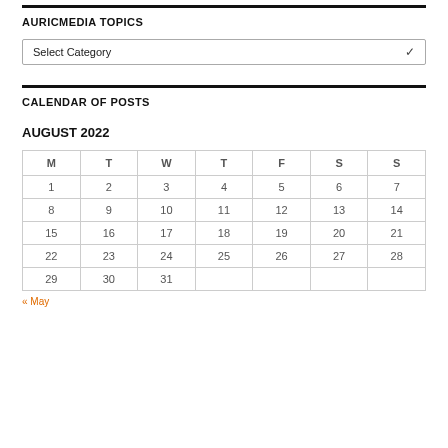AURICMEDIA TOPICS
Select Category
CALENDAR OF POSTS
AUGUST 2022
| M | T | W | T | F | S | S |
| --- | --- | --- | --- | --- | --- | --- |
| 1 | 2 | 3 | 4 | 5 | 6 | 7 |
| 8 | 9 | 10 | 11 | 12 | 13 | 14 |
| 15 | 16 | 17 | 18 | 19 | 20 | 21 |
| 22 | 23 | 24 | 25 | 26 | 27 | 28 |
| 29 | 30 | 31 |  |  |  |  |
« May